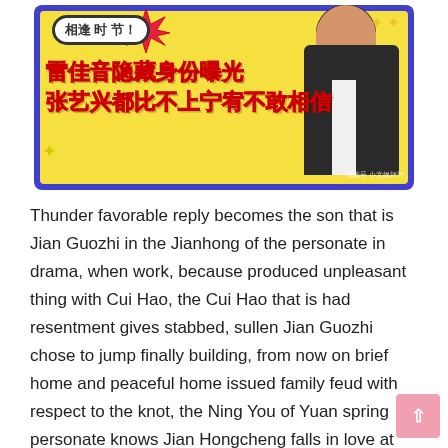[Figure (illustration): A promotional image with blue border and yellow background featuring Chinese text '相逢时节!' in a bubble, bold red Chinese characters '雷佳音隐藏身份曝光' and '张艺兴都比不上宁宥不敢相信', a person in a dark suit on the right side, and decorative star/burst elements.]
Thunder favorable reply becomes the son that is Jian Guozhi in the Jianhong of the personate in drama, when work, because produced unpleasant thing with Cui Hao, the Cui Hao that is had resentment gives stabbed, sullen Jian Guozhi chose to jump finally building, from now on brief home and peaceful home issued family feud with respect to the knot, the Ning You of Yuan spring personate knows Jian Hongcheng falls in love at first sight to oneself, but she